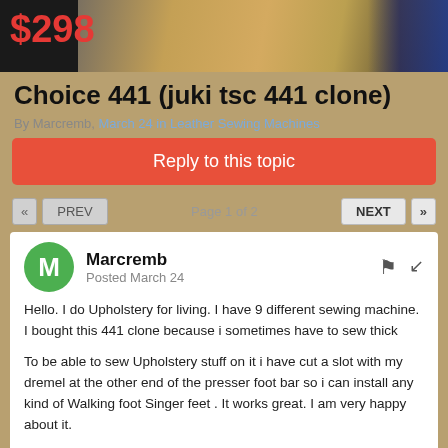[Figure (photo): Advertisement banner showing a price of $298 with sewing/leather tool products and a digital display device on dark background]
Choice 441 (juki tsc 441 clone)
By Marcremb, March 24 in Leather Sewing Machines
Reply to this topic
« PREV  Page 1 of 2  NEXT »
Marcremb
Posted March 24
Hello. I do Upholstery for living. I have 9 different sewing machine. I bought this 441 clone because i sometimes have to sew thick

To be able to sew Upholstery stuff on it i have cut a slot with my dremel at the other end of the presser foot bar so i can install any kind of Walking foot Singer feet . It works great. I am very happy about it.

The only thing is that the feed dog lifts to early before the needle and walking foot (needle foot) gets to the needle plate.